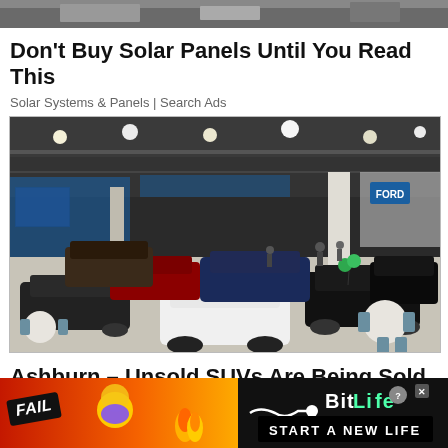[Figure (photo): Top partial image strip, dark/industrial background]
Don't Buy Solar Panels Until You Read This
Solar Systems & Panels | Search Ads
[Figure (photo): Interior of a large auto show convention hall filled with SUVs and cars on display, people browsing, bright overhead lighting]
Ashburn – Unsold SUVs Are Being Sold for
[Figure (infographic): BitLife advertisement banner: red/orange gradient background with FAIL badge, blonde emoji, fire, and BitLife logo with START A NEW LIFE text on black right side]